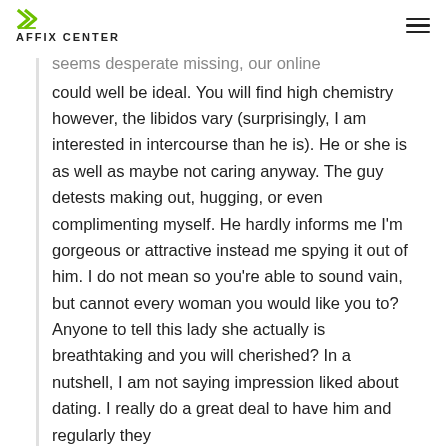AFFIX CENTER
could well be ideal. You will find high chemistry however, the libidos vary (surprisingly, I am interested in intercourse than he is). He or she is as well as maybe not caring anyway. The guy detests making out, hugging, or even complimenting myself. He hardly informs me I'm gorgeous or attractive instead me spying it out of him. I do not mean so you're able to sound vain, but cannot every woman you would like you to? Anyone to tell this lady she actually is breathtaking and you will cherished? In a nutshell, I am not saying impression liked about dating. I really do a great deal to have him and regularly they